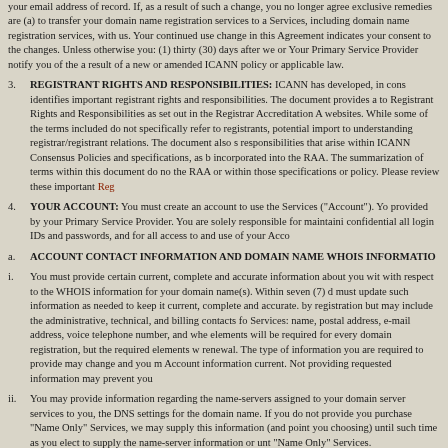your email address of record. If, as a result of such a change, you no longer agree exclusive remedies are (a) to transfer your domain name registration services to a Services, including domain name registration services, with us. Your continued use change in this Agreement indicates your consent to the changes. Unless otherwise you: (1) thirty (30) days after we or Your Primary Service Provider notify you of the a result of a new or amended ICANN policy or applicable law.
3. REGISTRANT RIGHTS AND RESPONSIBILITIES: ICANN has developed, in cons identifies important registrant rights and responsibilities. The document provides a to Registrant Rights and Responsibilities as set out in the Registrar Accreditation A websites. While some of the terms included do not specifically refer to registrants, potential import to understanding registrar/registrant relations. The document also responsibilities that arise within ICANN Consensus Policies and specifications, as incorporated into the RAA. The summarization of terms within this document do no the RAA or within those specifications or policy. Please review these important Reg
4. YOUR ACCOUNT: You must create an account to use the Services ("Account"). Y provided by your Primary Service Provider. You are solely responsible for maintaini confidential all login IDs and passwords, and for all access to and use of your Acco
a. ACCOUNT CONTACT INFORMATION AND DOMAIN NAME WHOIS INFORMATIO
i. You must provide certain current, complete and accurate information about you wit with respect to the WHOIS information for your domain name(s). Within seven (7) must update such information as needed to keep it current, complete and accurate. by registration but may include the administrative, technical, and billing contacts fo Services: name, postal address, e-mail address, voice telephone number, and whe elements will be required for every domain registration, but the required elements renewal. The type of information you are required to provide may change and you Account information current. Not providing requested information may prevent you
ii. You may provide information regarding the name-servers assigned to your domain server services to you, the DNS settings for the domain name. If you do not provide you purchase "Name Only" Services, we may supply this information (and point you choosing) until such time as you elect to supply the name-server information or unt "Name Only" Services.
b. AND DATA SHARING: